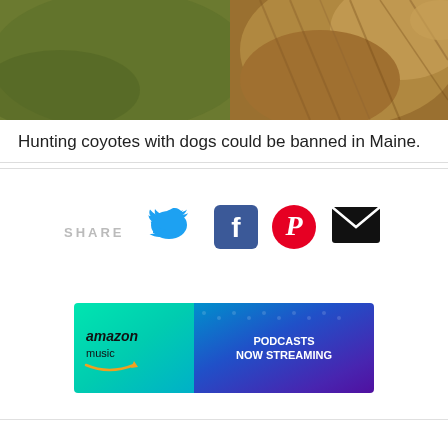[Figure (photo): Close-up photo of a coyote or similar animal with fur visible, blurred green background]
Hunting coyotes with dogs could be banned in Maine.
[Figure (infographic): Social share bar with SHARE label and icons for Twitter, Facebook, Pinterest, and Email]
[Figure (infographic): Amazon Music advertisement banner: 'amazon music PODCASTS NOW STREAMING']